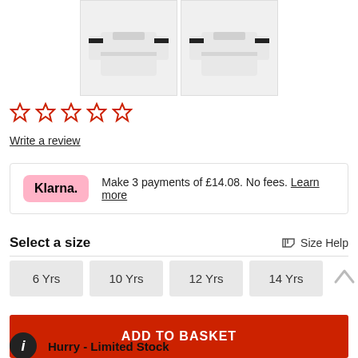[Figure (photo): Two product thumbnail images of a grey sweatshirt with black stripe detail on the sleeves, shown from slightly different angles, each in a bordered box]
[Figure (other): Five empty star rating icons in red outline]
Write a review
Klarna. Make 3 payments of £14.08. No fees. Learn more
Select a size
Size Help
6 Yrs
10 Yrs
12 Yrs
14 Yrs
ADD TO BASKET
Hurry - Limited Stock